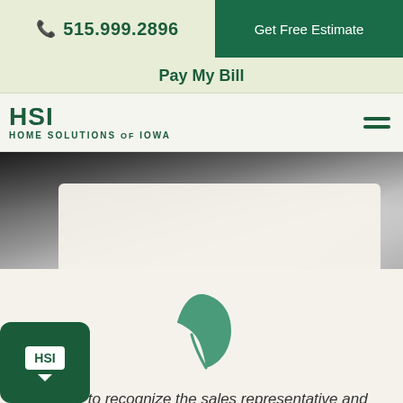515.999.2896 | Get Free Estimate
Pay My Bill
[Figure (logo): HSI Home Solutions of Iowa logo with hamburger menu icon]
[Figure (photo): Close-up photo of white vinyl siding or gutters on a home, blurred background]
[Figure (illustration): Green leaf icon centered on a light beige card background]
“I’d like to recognize the sales representative and the crew that came out.”
[Figure (logo): HSI chat widget button in bottom left corner, dark green rounded square with HSI text in white speech bubble]